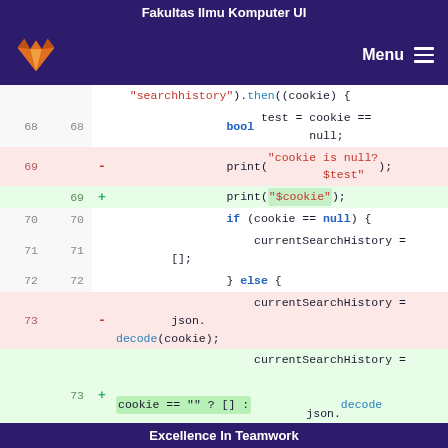Fakultas Ilmu Komputer UI
[Figure (screenshot): GitLab-style code diff view showing changes to JavaScript code involving searchhistory cookie logic, lines 68-75, with deletions (red) and additions (green).]
Excellence In Teamwork